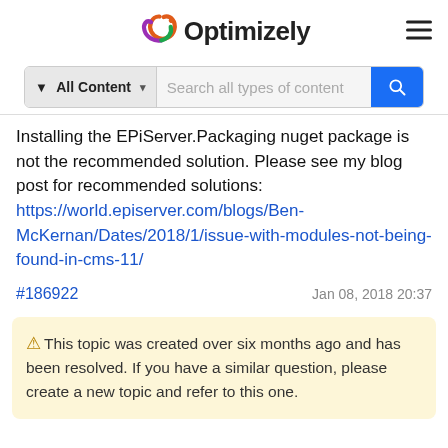[Figure (logo): Optimizely logo with colorful swirl icon and bold black text]
[Figure (screenshot): Search bar with 'All Content' filter dropdown and 'Search all types of content' placeholder, blue search button]
Installing the EPiServer.Packaging nuget package is not the recommended solution. Please see my blog post for recommended solutions: https://world.episerver.com/blogs/Ben-McKernan/Dates/2018/1/issue-with-modules-not-being-found-in-cms-11/
#186922  Jan 08, 2018 20:37
This topic was created over six months ago and has been resolved. If you have a similar question, please create a new topic and refer to this one.